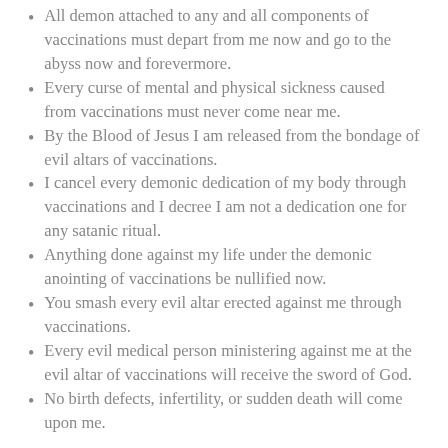All demon attached to any and all components of vaccinations must depart from me now and go to the abyss now and forevermore.
Every curse of mental and physical sickness caused from vaccinations must never come near me.
By the Blood of Jesus I am released from the bondage of evil altars of vaccinations.
I cancel every demonic dedication of my body through vaccinations and I decree I am not a dedication one for any satanic ritual.
Anything done against my life under the demonic anointing of vaccinations be nullified now.
You smash every evil altar erected against me through vaccinations.
Every evil medical person ministering against me at the evil altar of vaccinations will receive the sword of God.
No birth defects, infertility, or sudden death will come upon me.